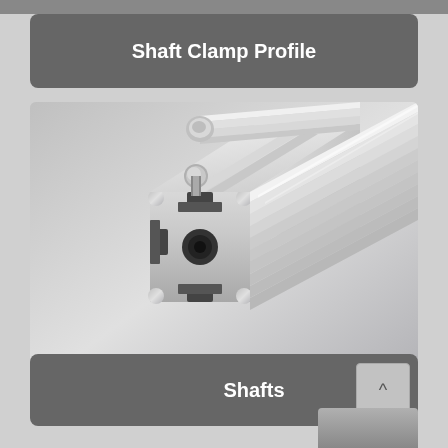Shaft Clamp Profile
[Figure (photo): Aluminum T-slot extrusion profile with a shaft clamp inserted in the top slot. The profile shows the cross-section with square T-slots on three sides and a central bore, with a cylindrical shaft protruding from the top slot. The profile extends diagonally across the image.]
Shafts